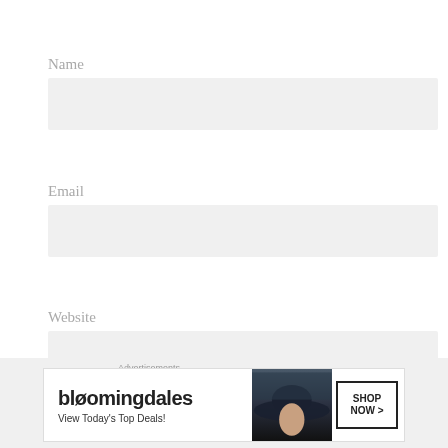Name
[Figure (other): Empty text input field for Name]
Email
[Figure (other): Empty text input field for Email]
Website
[Figure (other): Empty text input field for Website]
[Figure (other): Red button labeled Post Comment]
[Figure (other): Close/X button circle]
Advertisements
[Figure (other): Bloomingdales advertisement banner: bloomingdales logo, View Today's Top Deals!, woman in hat, SHOP NOW >]